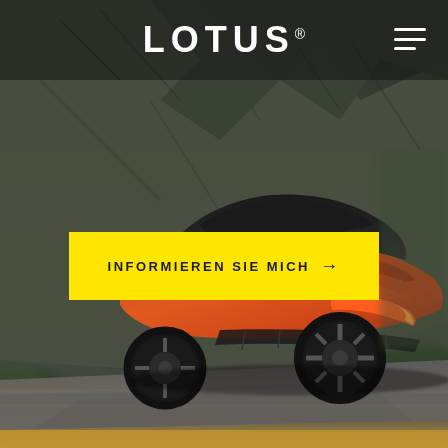[Figure (photo): Lotus sports car (orange/copper colored supercar) driving at speed on a mountain road with rocky cliff face in background, motion blur on surroundings]
LOTUS ®
INFORMIEREN SIE MICH →